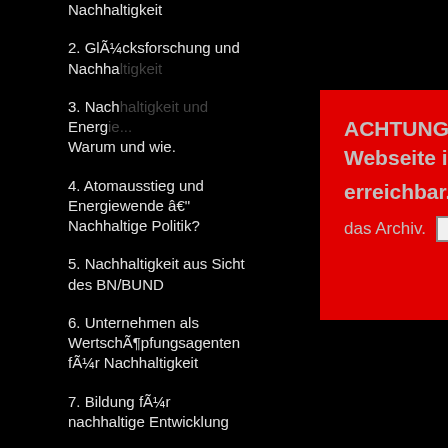Nachhaltigkeit
2. GlÃ¼cksforschung und Nachhaltigkeit
3. Nachhaltigkeit und Energie... Warum und wie.
4. Atomausstieg und Energiewende â€" Nachhaltige Politik?
5. Nachhaltigkeit aus Sicht des BN/BUND
6. Unternehmen als WertschÃ¶pfungsagenten fÃ¼r Nachhaltigkeit
7. Bildung fÃ¼r nachhaltige Entwicklung
8. Strategien nachhaltiger Unternehmen
9. Umweltmanagement nach EMAS
[Figure (screenshot): Red popup overlay with text: ACHTUNG: Die neue Stuve-Webseite ist unter [link] erreichbar. Hier ist nur noch das Archiv. [X close button]]
Covid- epide transp usuall dropp elimin strate in fact proble Peopl wheth coron premi shoul site.
Rea
Thank non-p perso right t large so yo conta